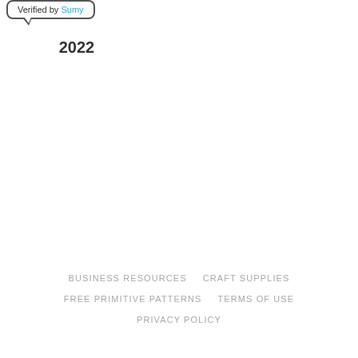[Figure (logo): Speech bubble badge saying 'Verified by Sumy' with year 2022 below it]
BUSINESS RESOURCES   CRAFT SUPPLIES   FREE PRIMITIVE PATTERNS   TERMS OF USE   PRIVACY POLICY